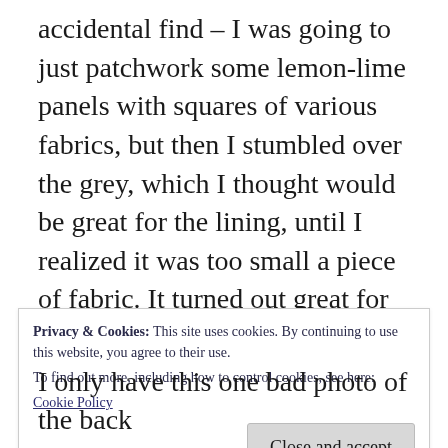accidental find – I was going to just patchwork some lemon-lime panels with squares of various fabrics, but then I stumbled over the grey, which I thought would be great for the lining, until I realized it was too small a piece of fabric. It turned out great for either side of the stitched panel (except it made me wish I'd stitched on grey linen rather than oatmeal!) and then I added the green Anna Maria Horner print for something like grass under Lulu's feet, with the ric-rack just for extra interest. The
Privacy & Cookies: This site uses cookies. By continuing to use this website, you agree to their use.
To find out more, including how to control cookies, see here:
Cookie Policy

[Close and accept]
I only have this one bad photo of the back